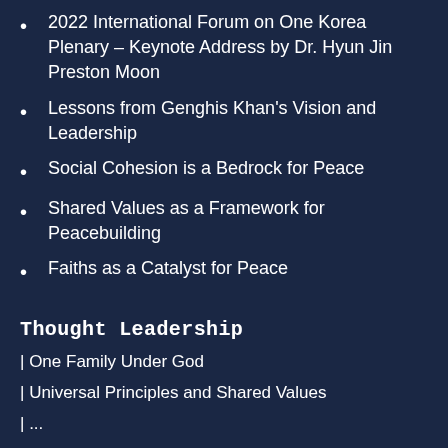2022 International Forum on One Korea Plenary – Keynote Address by Dr. Hyun Jin Preston Moon
Lessons from Genghis Khan's Vision and Leadership
Social Cohesion is a Bedrock for Peace
Shared Values as a Framework for Peacebuilding
Faiths as a Catalyst for Peace
Thought Leadership
| One Family Under God
| Universal Principles and Shared Values
| ...